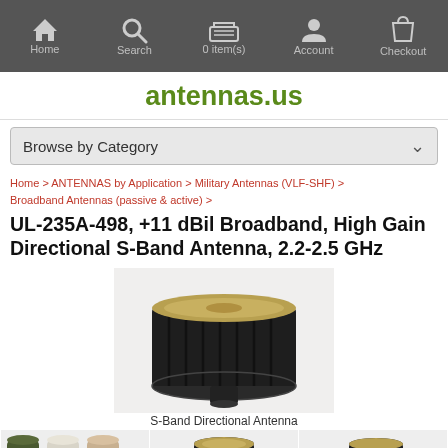Home | Search | 0 item(s) | Account | Checkout
antennas.us
Browse by Category
Home > ANTENNAS by Application > Military Antennas (VLF-SHF) > Broadband Antennas (passive & active) >
UL-235A-498, +11 dBil Broadband, High Gain Directional S-Band Antenna, 2.2-2.5 GHz
[Figure (photo): Main product image of S-Band Directional Antenna - a black cylindrical directional antenna with ribbed base and golden front face]
S-Band Directional Antenna
[Figure (photo): Three color variants of small cylindrical antennas: olive green, white/beige, and tan]
[Figure (photo): Smaller black cylindrical antenna viewed from front angle]
[Figure (photo): Smaller black cylindrical antenna viewed from side angle showing mount]